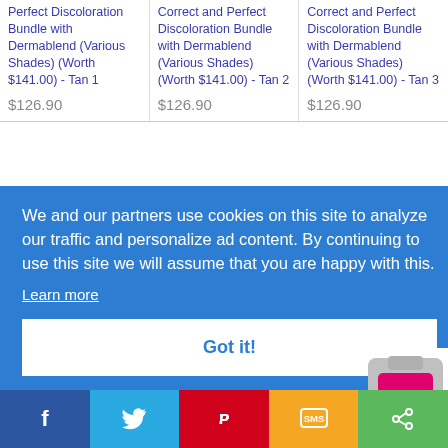Perfect Discoloration Bundle with Dermablend (Various Shades) (Worth $141.00) - Tan 1
$126.90
Correct and Perfect Discoloration Bundle with Dermablend (Various Shades) (Worth $141.00) - Tan 2
$126.90
Correct and Perfect Discoloration Bundle with Dermablend (Various Shades) (Worth $141.00) - Tan 3
$126.90
We and our partners use cookies on this site to analyze our traffic and personalize ad content. By continuing to use this site we will assume that you are happy with this.
Learn more
Got it!